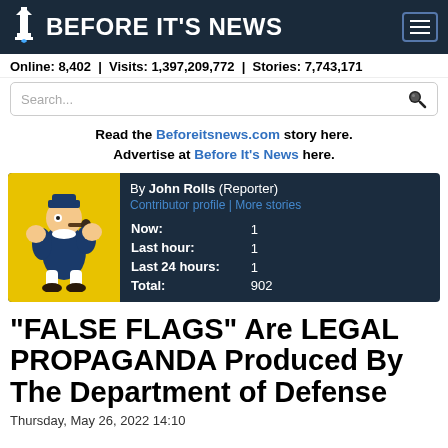BEFORE IT'S NEWS
Online: 8,402 | Visits: 1,397,209,772 | Stories: 7,743,171
Search...
Read the Beforeitsnews.com story here. Advertise at Before It's News here.
[Figure (screenshot): Author card with Popeye illustration, byline John Rolls (Reporter), contributor profile and more stories links, view counts: Now: 1, Last hour: 1, Last 24 hours: 1, Total: 902]
“FALSE FLAGS” Are LEGAL PROPAGANDA Produced By The Department of Defense
Thursday, May 26, 2022 14:10